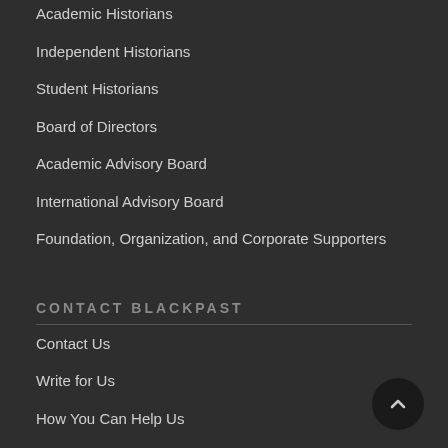Academic Historians
Independent Historians
Student Historians
Board of Directors
Academic Advisory Board
International Advisory Board
Foundation, Organization, and Corporate Supporters
CONTACT BLACKPAST
Contact Us
Write for Us
How You Can Help Us